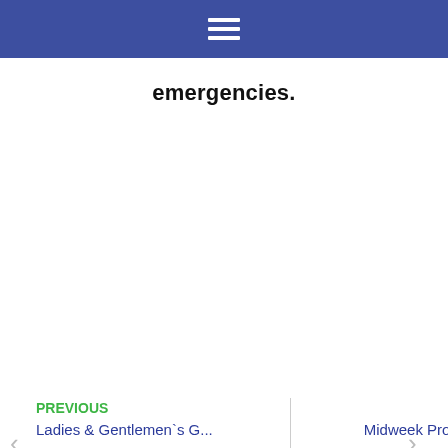emergencies.
PREVIOUS
Ladies & Gentlemen`s G...
NEXT
Midweek Procomp Stabl...